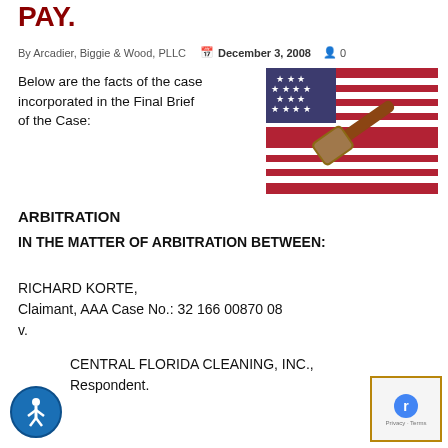PAY.
By Arcadier, Biggie & Wood, PLLC   December 3, 2008   0
Below are the facts of the case incorporated in the Final Brief of the Case:
[Figure (photo): Photo of a wooden gavel resting on an American flag with red, white, and blue colors visible.]
ARBITRATION
IN THE MATTER OF ARBITRATION BETWEEN:
RICHARD KORTE,
Claimant, AAA Case No.: 32 166 00870 08
v.
CENTRAL FLORIDA CLEANING, INC.,
Respondent.